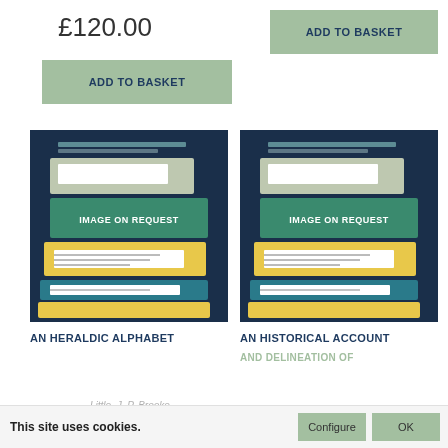£120.00
ADD TO BASKET
ADD TO BASKET
[Figure (illustration): Book stack placeholder image with 'IMAGE ON REQUEST' text on a dark navy background with colorful book spines in teal, gold, and white]
[Figure (illustration): Book stack placeholder image with 'IMAGE ON REQUEST' text on a dark navy background with colorful book spines in teal, gold, and white]
AN HERALDIC ALPHABET
AN HISTORICAL ACCOUNT
AND DELINEATION OF
Little, J. P. Brooke-
This site uses cookies.
Configure
OK